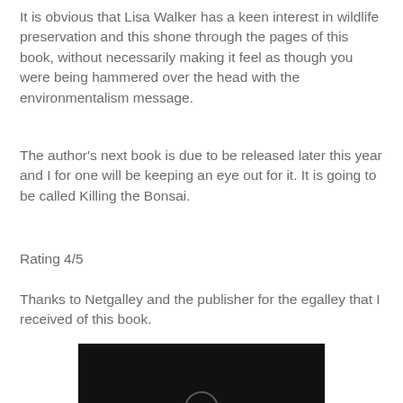It is obvious that Lisa Walker has a keen interest in wildlife preservation and this shone through the pages of this book, without necessarily making it feel as though you were being hammered over the head with the environmentalism message.
The author's next book is due to be released later this year and I for one will be keeping an eye out for it. It is going to be called Killing the Bonsai.
Rating 4/5
Thanks to Netgalley and the publisher for the egalley that I received of this book.
[Figure (photo): A dark/black image, partially visible at the bottom of the page, appearing to show a book cover or similar dark image with a faint circular element at the bottom center.]